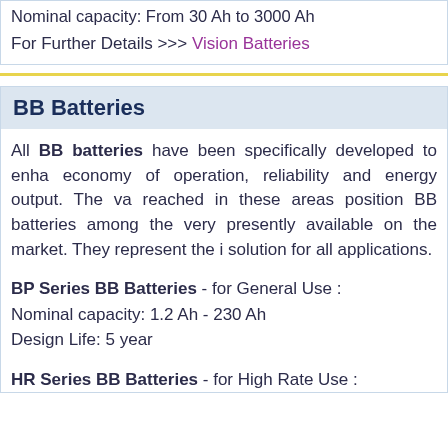Nominal capacity: From 30 Ah to 3000 Ah
For Further Details >>> Vision Batteries
BB Batteries
All BB batteries have been specifically developed to enhance economy of operation, reliability and energy output. The values reached in these areas position BB batteries among the very best presently available on the market. They represent the ideal solution for all applications.
BP Series BB Batteries - for General Use :
Nominal capacity: 1.2 Ah - 230 Ah
Design Life: 5 year
HR Series BB Batteries - for High Rate Use :